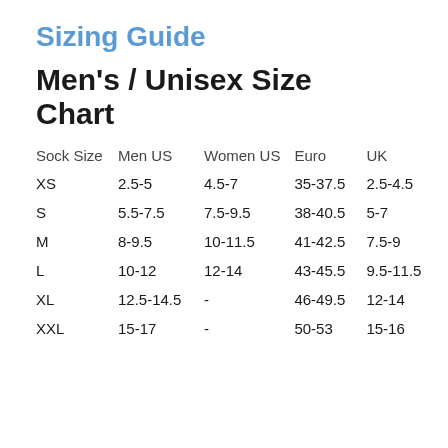Sizing Guide
Men's / Unisex Size Chart
| Sock Size | Men US | Women US | Euro | UK |
| --- | --- | --- | --- | --- |
| XS | 2.5-5 | 4.5-7 | 35-37.5 | 2.5-4.5 |
| S | 5.5-7.5 | 7.5-9.5 | 38-40.5 | 5-7 |
| M | 8-9.5 | 10-11.5 | 41-42.5 | 7.5-9 |
| L | 10-12 | 12-14 | 43-45.5 | 9.5-11.5 |
| XL | 12.5-14.5 | - | 46-49.5 | 12-14 |
| XXL | 15-17 | - | 50-53 | 15-16 |